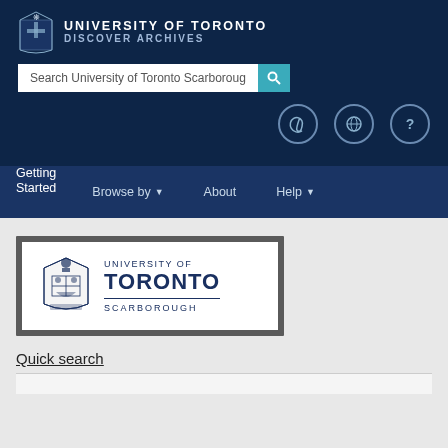[Figure (logo): University of Toronto Discover Archives logo in white text on dark navy header]
Search University of Toronto Scarborough
[Figure (other): Navigation icon row: paperclip, globe, help/question mark icons]
Getting Started
Browse by ▾
About
Help ▾
[Figure (logo): University of Toronto Scarborough shield logo with text: UNIVERSITY OF TORONTO SCARBOROUGH]
Quick search